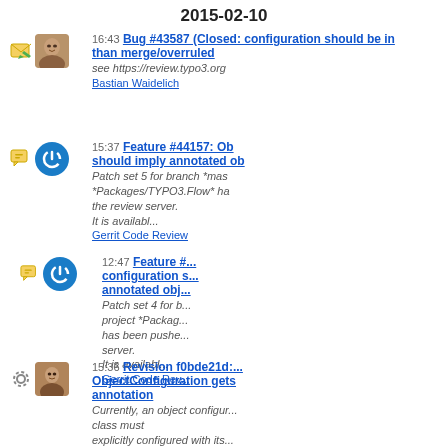2015-02-10
16:43 Bug #43587 (Closed: configuration should be instead of than merge/overruled
see https://review.typo3.org...
Bastian Waidelich
15:37 Feature #44157: Ob... should imply annotated ob...
Patch set 5 for branch *mas... *Packages/TYPO3.Flow* ha... the review server.
It is availabl...
Gerrit Code Review
12:47 Feature #... configuration s... annotated obj...
Patch set 4 for b... project *Packag... has been pushe... server.
It is availabl...
Gerrit Code Rev...
15:36 Revision f0bde21d:... ObjectConfiguration gets... annotation
Currently, an object configur... class must
explicitly configured with its... name is
i...
Adrian Föder